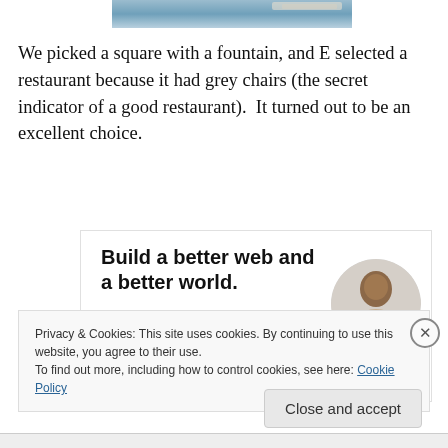[Figure (photo): Partial top image strip showing water/sky scene]
We picked a square with a fountain, and E selected a restaurant because it had grey chairs (the secret indicator of a good restaurant).  It turned out to be an excellent choice.
[Figure (infographic): Advertisement banner: 'Build a better web and a better world.' with an Apply button and a circular photo of a person thinking]
Privacy & Cookies: This site uses cookies. By continuing to use this website, you agree to their use.
To find out more, including how to control cookies, see here: Cookie Policy
Close and accept